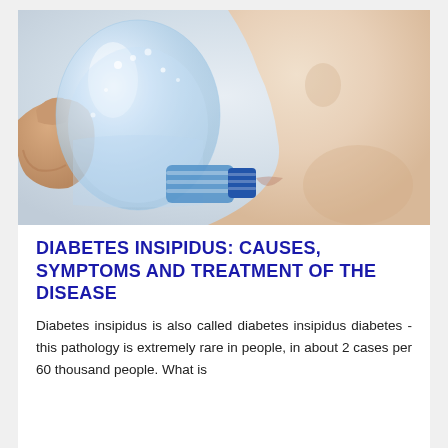[Figure (photo): Person drinking water from a clear plastic bottle with a blue cap, viewed from the side. The person's face profile shows nose and chin. The bottle has condensation droplets on it. Background is light grey.]
DIABETES INSIPIDUS: CAUSES, SYMPTOMS AND TREATMENT OF THE DISEASE
Diabetes insipidus is also called diabetes insipidus diabetes - this pathology is extremely rare in people, in about 2 cases per 60 thousand people. What is